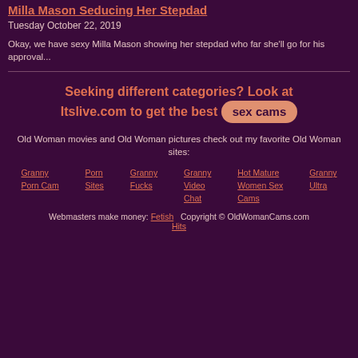Milla Mason Seducing Her Stepdad
Tuesday October 22, 2019
Okay, we have sexy Milla Mason showing her stepdad who far she'll go for his approval...
Seeking different categories? Look at Itslive.com to get the best sex cams
Old Woman movies and Old Woman pictures check out my favorite Old Woman sites:
Granny Porn Cam
Porn Sites
Granny Fucks
Granny Video Chat
Hot Mature Women Sex Cams
Granny Ultra
Webmasters make money: Fetish   Copyright © OldWomanCams.com Hits